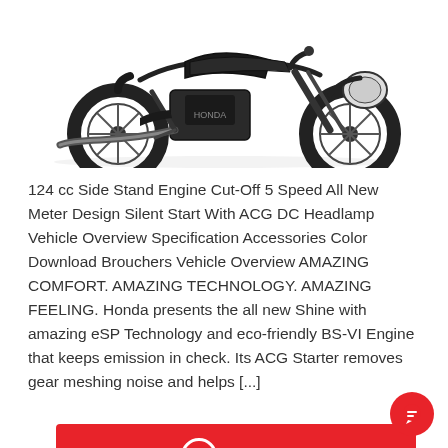[Figure (photo): Black Honda Shine motorcycle viewed from the left/front side on a white background, showing front fork, wheels, engine, exhaust pipe and handlebars.]
124 cc Side Stand Engine Cut-Off 5 Speed All New Meter Design Silent Start With ACG DC Headlamp Vehicle Overview Specification Accessories Color Download Brouchers Vehicle Overview AMAZING COMFORT. AMAZING TECHNOLOGY. AMAZING FEELING. Honda presents the all new Shine with amazing eSP Technology and eco-friendly BS-VI Engine that keeps emission in check. Its ACG Starter removes gear meshing noise and helps [...]
[Figure (other): Red 'Read More' button with right-arrow circle icon on the right side]